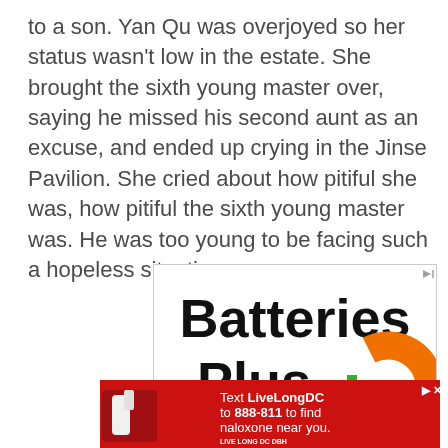to a son. Yan Qu was overjoyed so her status wasn't low in the estate. She brought the sixth young master over, saying he missed his second aunt as an excuse, and ended up crying in the Jinse Pavilion. She cried about how pitiful she was, how pitiful the sixth young master was. He was too young to be facing such a hopeless situation.
[Figure (other): Batteries Plus advertisement with orange circular logo and green plus sign]
[Figure (other): Live Long DC public health advertisement on red background showing naloxone nasal spray with text: Text LiveLongDC to 888-811 to find naloxone near you.]